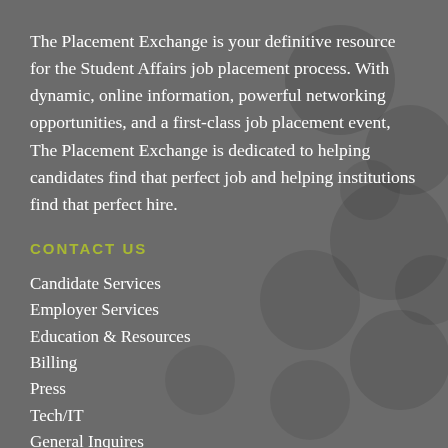The Placement Exchange is your definitive resource for the Student Affairs job placement process. With dynamic, online information, powerful networking opportunities, and a first-class job placement event, The Placement Exchange is dedicated to helping candidates find that perfect job and helping institutions find that perfect hire.
CONTACT US
Candidate Services
Employer Services
Education & Resources
Billing
Press
Tech/IT
General Inquires
Phone: 740-358-0366